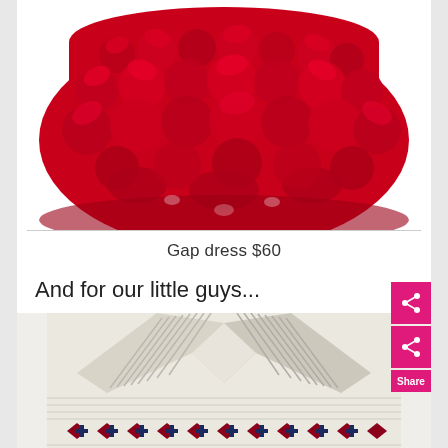[Figure (photo): Top portion of a red rosette/floral textured dress or skirt, cropped at top of image]
Gap dress $60
And for our little guys...
[Figure (photo): Fair Isle / Nordic pattern knit cardigan sweater in cream/white with red and navy blue pattern, shawl collar, cropped view showing collar and upper body]